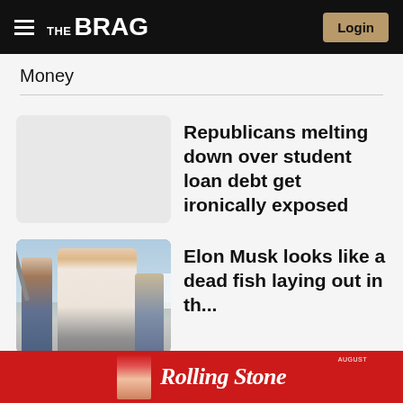THE BRAG — Login
Money
Republicans melting down over student loan debt get ironically exposed
[Figure (photo): Elon Musk shirtless on a boat with another person, outdoors near water]
Elon Musk looks like a dead fish laying out in the...
[Figure (other): Rolling Stone advertisement banner]